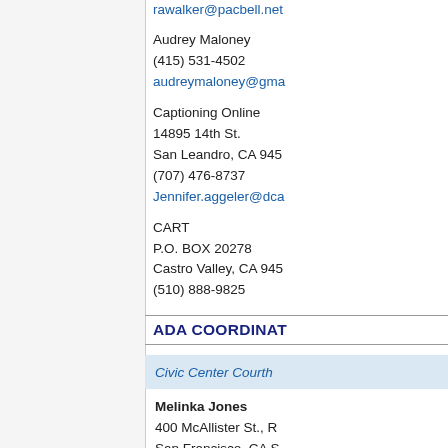rawalker@pacbell.net
Audrey Maloney
(415) 531-4502
audreymaloney@gma...
Captioning Online
14895 14th St.
San Leandro, CA 945...
(707) 476-8737
Jennifer.aggeler@dca...
CART
P.O. BOX 20278
Castro Valley, CA 945...
(510) 888-9825
ADA COORDINAT...
Civic Center Courth...
Melinka Jones
400 McAllister St., R...
San Francisco, CA S...